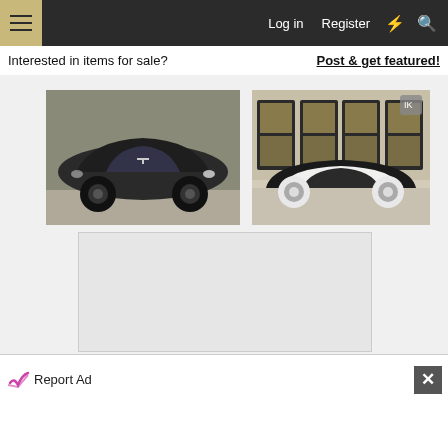Navigation bar with menu button, Log in, Register, and icon links
Interested in items for sale?
Post & get featured!
[Figure (photo): Black Tesla Model S sedan parked on pavement]
[Figure (photo): Classic black and white Corvette convertible parked in front of building with yellow-trimmed garage doors]
[Figure (other): Gray advertisement placeholder area]
Report Ad
[Figure (other): White bottom advertisement area]